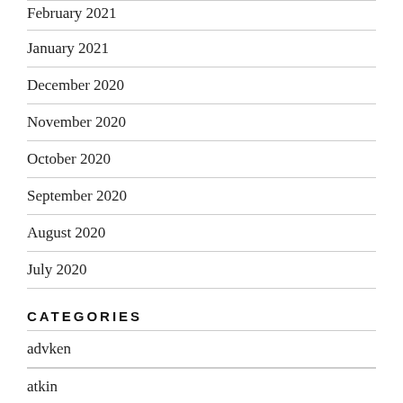February 2021
January 2021
December 2020
November 2020
October 2020
September 2020
August 2020
July 2020
CATEGORIES
advken
atkin